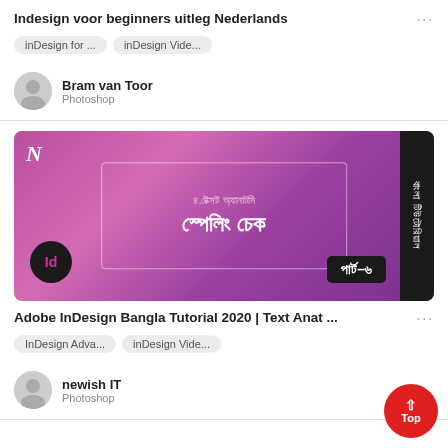Indesign voor beginners uitleg Nederlands
inDesign for ...
inDesign Vide...
Bram van Toor
Photoshop
[Figure (screenshot): Thumbnail image for Adobe InDesign Bangla Tutorial 2020 video. Purple/pink gradient background with Bengali text, InDesign logo circle, and part label.]
Adobe InDesign Bangla Tutorial 2020 | Text Anat ...
InDesign Adva...
inDesign Vide...
newish IT
Photoshop